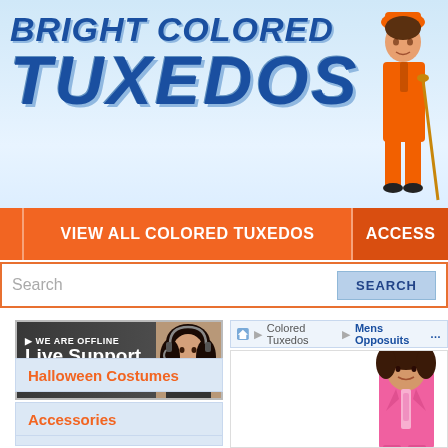[Figure (screenshot): Bright Colored Tuxedos website header banner with logo text and man wearing orange tuxedo]
BRIGHT COLORED TUXEDOS
VIEW ALL COLORED TUXEDOS | ACCESS
Search | SEARCH
[Figure (photo): Live support chat widget showing offline status with woman wearing headset]
Colored Tuxedos
Halloween Costumes
Accessories
Colored Tuxedos > Mens Opposuits
[Figure (photo): Man wearing bright pink tuxedo jacket with pink tie]